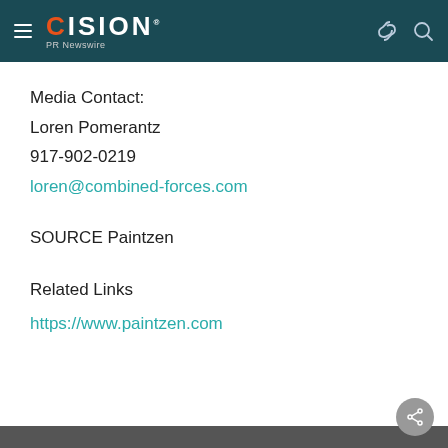CISION PR Newswire
Media Contact:
Loren Pomerantz
917-902-0219
loren@combined-forces.com
SOURCE Paintzen
Related Links
https://www.paintzen.com